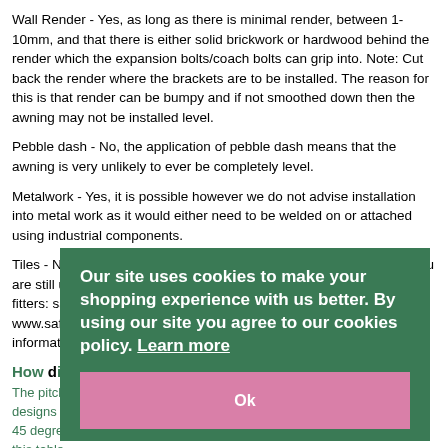Wall Render - Yes, as long as there is minimal render, between 1-10mm, and that there is either solid brickwork or hardwood behind the render which the expansion bolts/coach bolts can grip into. Note: Cut back the render where the brackets are to be installed. The reason for this is that render can be bumpy and if not smoothed down then the awning may not be installed level.
Pebble dash - No, the application of pebble dash means that the awning is very unlikely to ever be completely level.
Metalwork - Yes, it is possible however we do not advise installation into metal work as it would either need to be welded on or attached using industrial components.
Tiles - No, installation is not recommended into any type of tiling. If you are still unsure please send an email, with an image to our approved fitters: sales@saffronsa.uk or to go to www.saffronshuttersandawnings.co.uk to obtain their contact information.
How difficult is it to adjust the pitch?
The pitch on most awnings can be adjusted to about 35 degrees. A few designs range from 0 degrees to about 35 degrees and some from 15 to 45 degrees. To compare pitch capability, look at the self-fit awnings in this table.
How far does the awning open?
It all depends on the width of the awning. The awning can be opened as little or as much as you like, up to the maximum projection as follows:
Our site uses cookies to make your shopping experience with us better. By using our site you agree to our cookies policy. Learn more